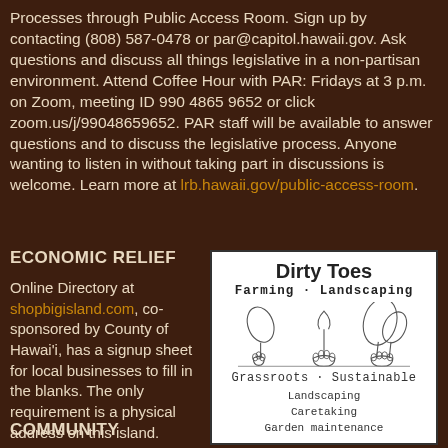Processes through Public Access Room. Sign up by contacting (808) 587-0478 or par@capitol.hawaii.gov. Ask questions and discuss all things legislative in a non-partisan environment. Attend Coffee Hour with PAR: Fridays at 3 p.m. on Zoom, meeting ID 990 4865 9652 or click zoom.us/j/99048659652. PAR staff will be available to answer questions and to discuss the legislative process. Anyone wanting to listen in without taking part in discussions is welcome. Learn more at lrb.hawaii.gov/public-access-room.
ECONOMIC RELIEF
Online Directory at shopbigisland.com, co-sponsored by County of Hawai'i, has a signup sheet for local businesses to fill in the blanks. The only requirement is a physical address on this island.
[Figure (illustration): Dirty Toes Farming · Landscaping advertisement. Shows illustration of dirty toes/feet with tropical plants. Text: 'Dirty Toes', 'Farming · Landscaping', 'Grassroots · Sustainable', 'Landscaping', 'Caretaking', 'Garden maintenance']
COMMUNITY